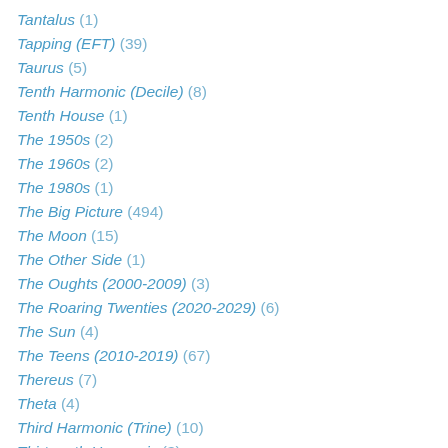Tantalus (1)
Tapping (EFT) (39)
Taurus (5)
Tenth Harmonic (Decile) (8)
Tenth House (1)
The 1950s (2)
The 1960s (2)
The 1980s (1)
The Big Picture (494)
The Moon (15)
The Other Side (1)
The Oughts (2000-2009) (3)
The Roaring Twenties (2020-2029) (6)
The Sun (4)
The Teens (2010-2019) (67)
Thereus (7)
Theta (4)
Third Harmonic (Trine) (10)
Thirteenth Harmonic (3)
Thoughts (7)